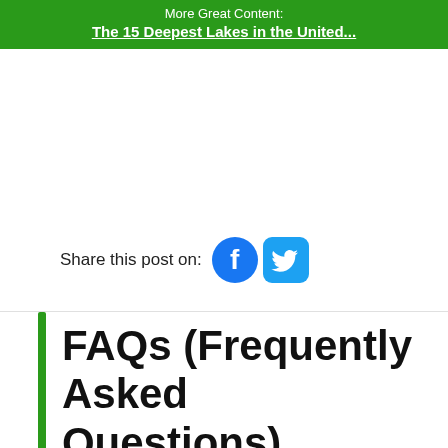More Great Content:
The 15 Deepest Lakes in the United...
Share this post on:
FAQs (Frequently Asked Questions)
Did a volcanic eruption cause the largest crater...